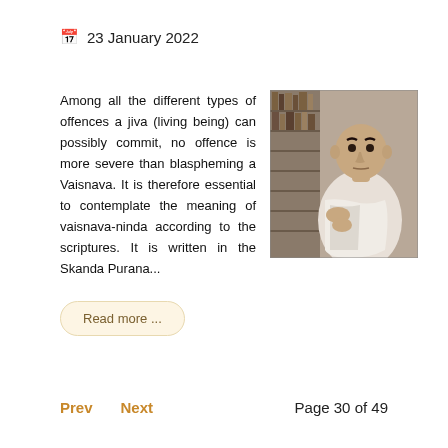23 January 2022
[Figure (photo): Black and white photograph of an elderly man in white garments seated, with bookshelves visible in the background.]
Among all the different types of offences a jiva (living being) can possibly commit, no offence is more severe than blaspheming a Vaisnava. It is therefore essential to contemplate the meaning of vaisnava-ninda according to the scriptures. It is written in the Skanda Purana...
Read more ...
Prev  Next  Page 30 of 49